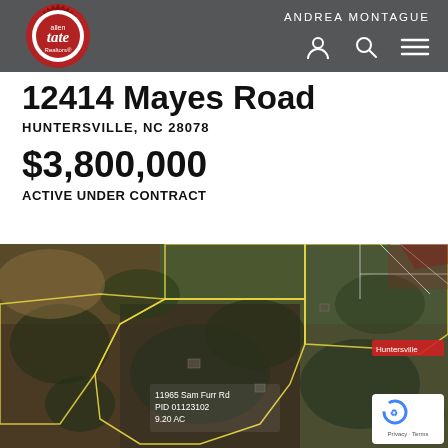ANDREA MONTAGUE
12414 Mayes Road
HUNTERSVILLE, NC 28078
$3,800,000
ACTIVE UNDER CONTRACT
[Figure (map): Aerial/satellite map view showing property parcel boundaries outlined in yellow near Huntersville, NC. Labels visible: '11965 Sam Furr Rd PID 01123102 9.20 AC' and 'Huntersville']